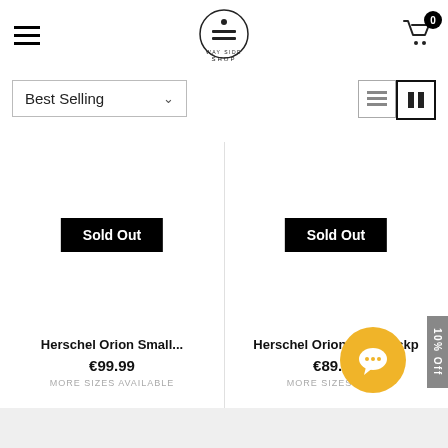WAY SIDE SHOP — navigation header with hamburger menu, logo, and cart (0)
Best Selling
[Figure (screenshot): Product card: Herschel Orion Small... Sold Out badge, €99.99, MORE SIZES AVAILABLE]
[Figure (screenshot): Product card: Herschel Orion Mini Backp... Sold Out badge, €89.99, MORE SIZES AVA...]
Herschel Orion Small...
€99.99
MORE SIZES AVAILABLE
Herschel Orion Mini Backp...
€89.99
MORE SIZES AVA...